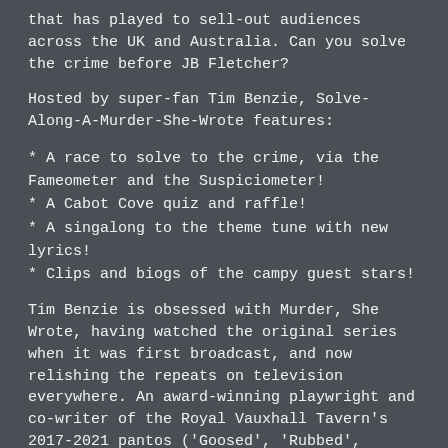that has played to sell-out audiences across the UK and Australia. Can you solve the crime before JB Fletcher?
Hosted by super-fan Tim Benzie, Solve-Along-A-Murder-She-Wrote features:
* A race to solve to the crime, via the Fameometer and the Suspiciometer!
* A Cabot Cove quiz and raffle!
* A singalong to the theme tune with new lyrics!
* Clips and biogs of the campy guest stars!
Tim Benzie is obsessed with Murder, She Wrote, having watched the original series when it was first broadcast, and now relishing the repeats on television everywhere. An award-winning playwright and co-writer of the Royal Vauxhall Tavern's 2017-2021 pantos ('Goosed', 'Rubbed', 'Slipped' and 'Pricked'). He is the co-producer of the camp club night PopHorror.